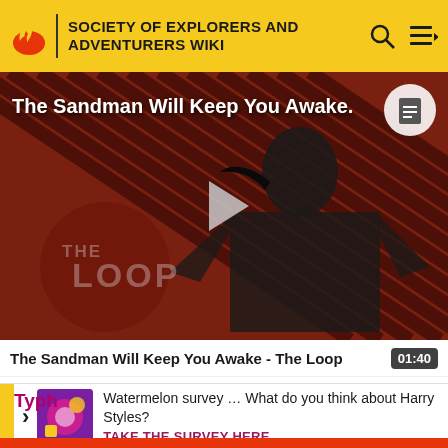SOCIETY OF EXPLORERS AND ADVENTURERS WIKI
[Figure (screenshot): Video thumbnail showing 'The Sandman Will Keep You Awake' with a figure in black against a dark diagonal-striped red background, with a play button in the center and THE LOOP logo at the bottom left.]
The Sandman Will Keep You Awake - The Loop
01:40
Watermelon survey … What do you think about Harry Styles?
TAKE THE SURVEY HERE